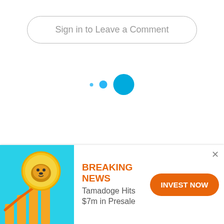Sign in to Leave a Comment
[Figure (infographic): Three circles of increasing size in blue tones arranged horizontally, representing a loading/pagination indicator]
How It Works
FAQ
Ambassador Program
Terms
[Figure (infographic): Advertisement banner showing a crypto coin (dog face) with a rising bar chart and arrow graphic on a teal background. Labeled 'ad'.]
BREAKING NEWS
Tamadoge Hits $7m in Presale
INVEST NOW